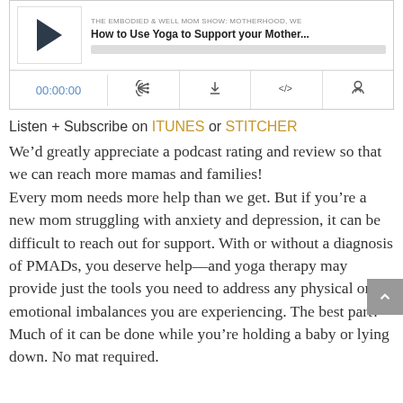[Figure (screenshot): Podcast player widget showing play button, episode title 'How to Use Yoga to Support your Mother...' from 'THE EMBODIED & WELL MOM SHOW: MOTHERHOOD, WE', with progress bar and controls showing 00:00:00 timestamp and icons for RSS, download, embed, and share.]
Listen + Subscribe on ITUNES or STITCHER
We’d greatly appreciate a podcast rating and review so that we can reach more mamas and families!
Every mom needs more help than we get. But if you’re a new mom struggling with anxiety and depression, it can be difficult to reach out for support. With or without a diagnosis of PMADs, you deserve help—and yoga therapy may provide just the tools you need to address any physical or emotional imbalances you are experiencing. The best part? Much of it can be done while you’re holding a baby or lying down. No mat required.